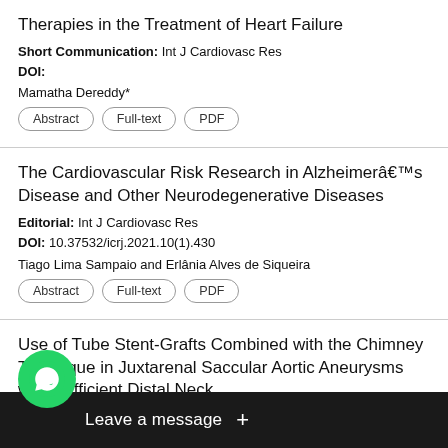Therapies in the Treatment of Heart Failure
Short Communication: Int J Cardiovasc Res
DOI:
Mamatha Dereddy*
Abstract | Full-text | PDF
The Cardiovascular Risk Research in Alzheimerâs Disease and Other Neurodegenerative Diseases
Editorial: Int J Cardiovasc Res
DOI: 10.37532/icrj.2021.10(1).430
Tiago Lima Sampaio and Erlânia Alves de Siqueira
Abstract | Full-text | PDF
Use of Tube Stent-Grafts Combined with the Chimney Technique in Juxtarenal Saccular Aortic Aneurysms with Sufficient Distal Neck
2014, 3:6
DOI: